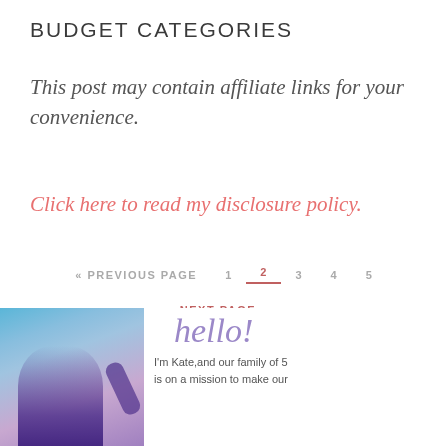BUDGET CATEGORIES
This post may contain affiliate links for your convenience.
Click here to read my disclosure policy.
« PREVIOUS PAGE   1   2   3   4   5   NEXT PAGE »
[Figure (photo): Photo of Kate, a woman with arm raised, against a colorful blue and purple background, alongside a hello! greeting and introductory text: I'm Kate, and our family of 5 is on a mission to make our]